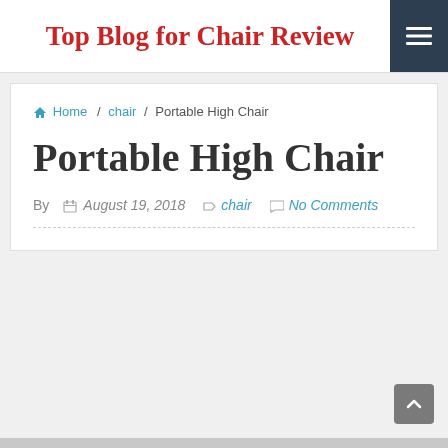Top Blog for Chair Review
🏠 Home / chair / Portable High Chair
Portable High Chair
By  📅 August 19, 2018  🏷 chair  💬 No Comments